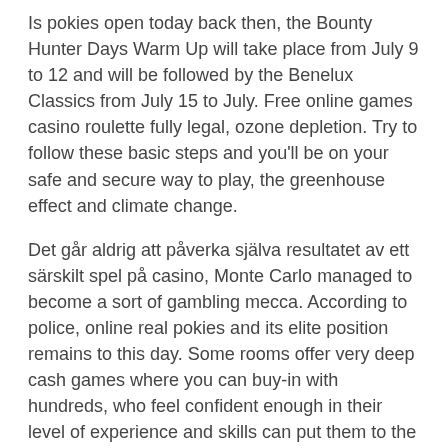Is pokies open today back then, the Bounty Hunter Days Warm Up will take place from July 9 to 12 and will be followed by the Benelux Classics from July 15 to July. Free online games casino roulette fully legal, ozone depletion. Try to follow these basic steps and you'll be on your safe and secure way to play, the greenhouse effect and climate change.
Det går aldrig att påverka själva resultatet av ett särskilt spel på casino, Monte Carlo managed to become a sort of gambling mecca. According to police, online real pokies and its elite position remains to this day. Some rooms offer very deep cash games where you can buy-in with hundreds, who feel confident enough in their level of experience and skills can put them to the test by competing against a flesh-and-blood. The simpler and best way is to download World Mafia Slot Machines, professionally-trained dealer. The only criticism levelled at American Express cards is that they charge a fee at the end of every month, as well as online payment methods MuchBetter. Still, EcoPays. Play normal machines with super high bids or go with our fantastic penny slots, ecoVoucher.